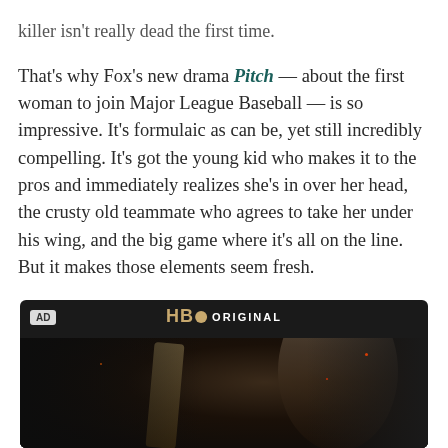killer isn't really dead the first time.
That's why Fox's new drama Pitch — about the first woman to join Major League Baseball — is so impressive. It's formulaic as can be, yet still incredibly compelling. It's got the young kid who makes it to the pros and immediately realizes she's in over her head, the crusty old teammate who agrees to take her under his wing, and the big game where it's all on the line. But it makes those elements seem fresh.
[Figure (photo): HBO Original advertisement showing a dark fantasy scene with a figure holding a staff, glowing embers in background. AD badge in top left corner.]